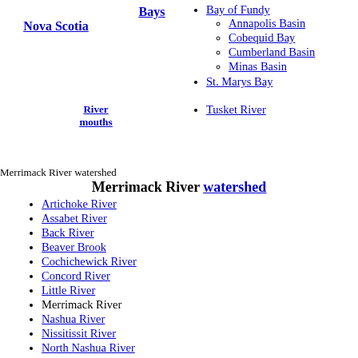Nova Scotia
Bays
Bay of Fundy
Annapolis Basin
Cobequid Bay
Cumberland Basin
Minas Basin
St. Marys Bay
River mouths
Tusket River
Merrimack River watershed
Merrimack River watershed
Artichoke River
Assabet River
Back River
Beaver Brook
Cochichewick River
Concord River
Little River
Merrimack River
Nashua River
Nissitissit River
North Nashua River
Phillips Brook
Powwow River